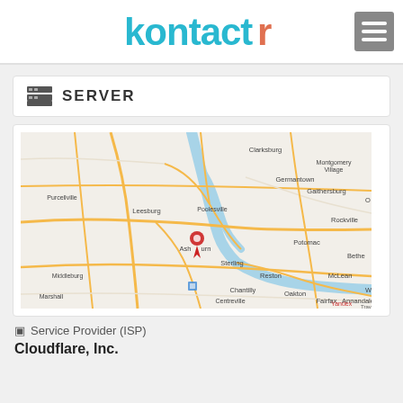kontactr
SERVER
[Figure (map): Geographic map showing the Virginia/Maryland area near Washington D.C., with a red pin marker placed near Ashburn, VA. Map shows cities including Clarksburg, Germantown, Montgomery Village, Gaithersburg, Rockville, Potomac, Reston, McLean, Bethesda, Fairfax, Annandale, Centreville, Chantilly, Oakton, Sterling, Leesburg, Purcellville, and others. Map source: Yandex.]
⊡ Service Provider (ISP)
Cloudflare, Inc.